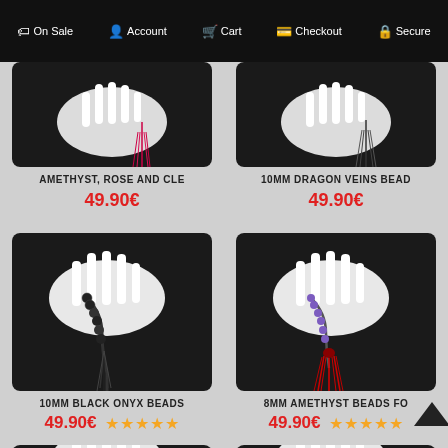On Sale  Account  Cart  Checkout  Secure
[Figure (photo): Product image: beaded bracelet with pink/red tassel on dark background]
AMETHYST, ROSE AND CLE
49.90€
[Figure (photo): Product image: beaded bracelet with dark tassel on dark background]
10MM DRAGON VEINS BEAD
49.90€
[Figure (photo): Product image: black onyx beads bracelet with black tassel on dark background, held by white hand]
10MM BLACK ONYX BEADS
49.90€
[Figure (photo): Product image: amethyst beads bracelet with red tassel on dark background, held by white hand]
8MM AMETHYST BEADS FO
49.90€
[Figure (photo): Product image partial: bracelet with colorful elements, partially visible at bottom]
[Figure (photo): Product image partial: bracelet, partially visible at bottom]